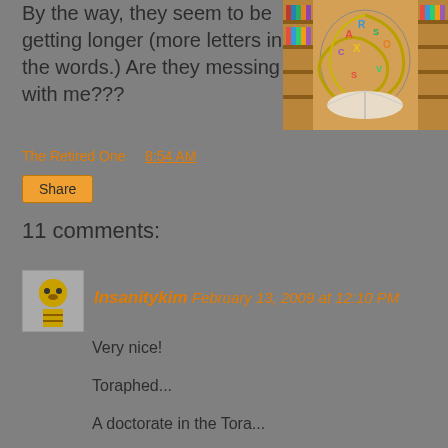By the way, they seem to be getting longer (more letters in the words.) Are they messing with me???
[Figure (illustration): Colorful illustration of letters swirling in a vortex above an open book in a library setting]
The Retired One at 8:54 AM
Share
11 comments:
Insanitykim February 13, 2009 at 12:10 PM
Very nice!

Toraphed...

A doctorate in the Tora...

Eh??? Eh???